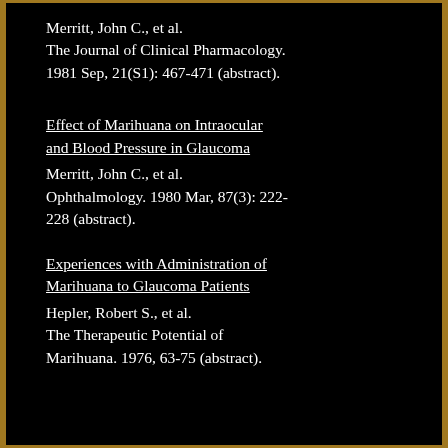Merritt, John C., et al. The Journal of Clinical Pharmacology. 1981 Sep, 21(S1): 467-471 (abstract).
Effect of Marihuana on Intraocular and Blood Pressure in Glaucoma
Merritt, John C., et al.
Ophthalmology. 1980 Mar, 87(3): 222-228 (abstract).
Experiences with Administration of Marihuana to Glaucoma Patients
Hepler, Robert S., et al.
The Therapeutic Potential of Marihuana. 1976, 63-75 (abstract).